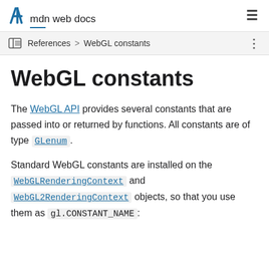mdn web docs
References > WebGL constants
WebGL constants
The WebGL API provides several constants that are passed into or returned by functions. All constants are of type GLenum.
Standard WebGL constants are installed on the WebGLRenderingContext and WebGL2RenderingContext objects, so that you use them as gl.CONSTANT_NAME: